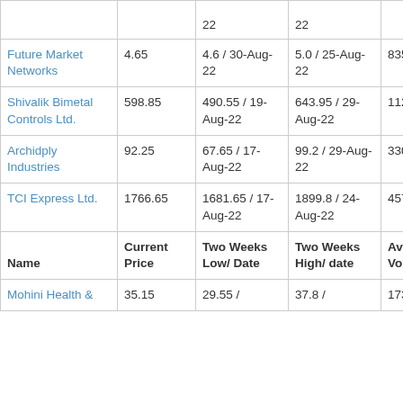| Name | Current Price | Two Weeks Low/ Date | Two Weeks High/ date | Average Volume (K) |
| --- | --- | --- | --- | --- |
|  | 22 | 22 |  |  |
| Future Market Networks | 4.65 | 4.6 / 30-Aug-22 | 5.0 / 25-Aug-22 | 83533 |
| Shivalik Bimetal Controls Ltd. | 598.85 | 490.55 / 19-Aug-22 | 643.95 / 29-Aug-22 | 112 K |
| Archidply Industries | 92.25 | 67.65 / 17-Aug-22 | 99.2 / 29-Aug-22 | 330 K |
| TCI Express Ltd. | 1766.65 | 1681.65 / 17-Aug-22 | 1899.8 / 24-Aug-22 | 45738 |
| Name | Current Price | Two Weeks Low/ Date | Two Weeks High/ date | Average Volume (K) |
| Mohini Health & | 35.15 | 29.55 / | 37.8 / | 17318 |